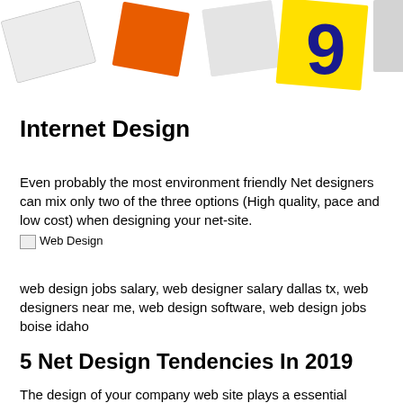[Figure (illustration): Decorative banner image with colorful design elements including an orange square, yellow triangle/arrow with number 9, and other graphic shapes at the top of the page]
Internet Design
Even probably the most environment friendly Net designers can mix only two of the three options (High quality, pace and low cost) when designing your net-site.
[Figure (illustration): Broken image placeholder labeled 'Web Design']
web design jobs salary, web designer salary dallas tx, web designers near me, web design software, web design jobs boise idaho
5 Net Design Tendencies In 2019
The design of your company web site plays a essential function in figuring out the general progress and thus success.